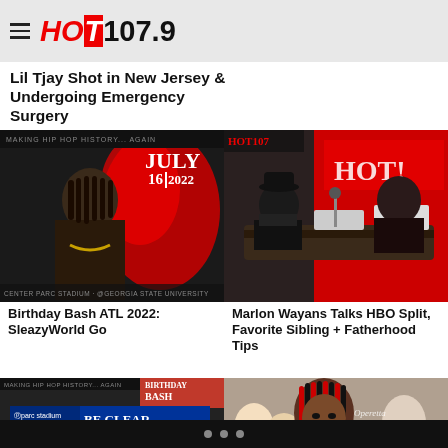HOT 107.9
Lil Tjay Shot in New Jersey & Undergoing Emergency Surgery
[Figure (photo): Birthday Bash ATL 2022 promotional image featuring SleazyWorld Go with red and black design, July 2022]
Birthday Bash ATL 2022: SleazyWorld Go
[Figure (photo): HOT 107.9 studio photo showing Marlon Wayans seated at broadcast desk with hosts]
Marlon Wayans Talks HBO Split, Favorite Sibling + Fatherhood Tips
[Figure (photo): Birthday Bash ATL promotional image with parc stadium BE CLEAR on gameday safety APPROVED text]
[Figure (photo): Woman with red and black braids smiling, Operetta The Great watermark visible]